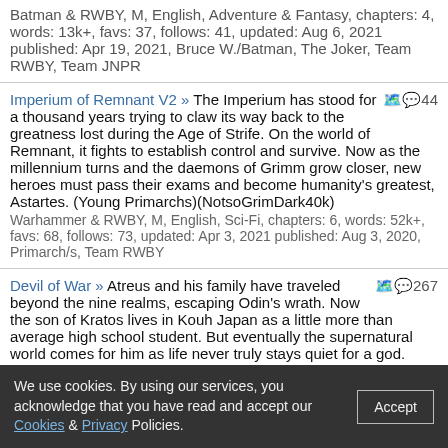Batman Who Laughs)(Zapin, Pyrrhia, and Roman Arc)
Batman & RWBY, M, English, Adventure & Fantasy, chapters: 4, words: 13k+, favs: 37, follows: 41, updated: Aug 6, 2021 published: Apr 19, 2021, Bruce W./Batman, The Joker, Team RWBY, Team JNPR
Imperium of Remnant V2 » The Imperium has stood for a thousand years trying to claw its way back to the greatness lost during the Age of Strife. On the world of Remnant, it fights to establish control and survive. Now as the millennium turns and the daemons of Grimm grow closer, new heroes must pass their exams and become humanity's greatest, Astartes. (Young Primarchs)(NotsoGrimDark40k)
Warhammer & RWBY, M, English, Sci-Fi, chapters: 6, words: 52k+, favs: 68, follows: 73, updated: Apr 3, 2021 published: Aug 3, 2020, Primarch/s, Team RWBY
Devil of War » Atreus and his family have traveled beyond the nine realms, escaping Odin's wrath. Now the son of Kratos lives in Kouh Japan as a little more than average high school student. But eventually the supernatural world comes for him as life never truly stays quiet for a god. (Devil Atreus, Lemons, slightly calmed down Kratos, lore bending)
God of War & High School DxD/ハイスクールD×D, M, English, Supernatural & Romance, chapters: 11, words: 114k+, favs: 641, follows: 680, updated: Dec 25, 2020 published: Mar 7, 2020
Imperium of Remnant » New Version up, same name with V2 added
Warhammer & RWBY, M, English, Adventure & Sci-Fi, chapters: 12, words:
We use cookies. By using our services, you acknowledge that you have read and accept our Cookies & Privacy Policies.